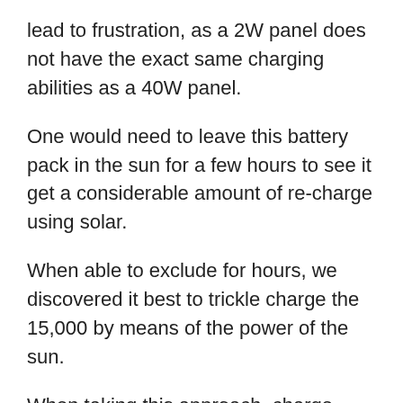lead to frustration, as a 2W panel does not have the exact same charging abilities as a 40W panel.
One would need to leave this battery pack in the sun for a few hours to see it get a considerable amount of re-charge using solar.
When able to exclude for hours, we discovered it best to trickle charge the 15,000 by means of the power of the sun.
When taking this approach, charge disturbance isn't a concern due to the fact that your device will always be getting power from the battery itself, which is, in turn, getting refilled from the sun.